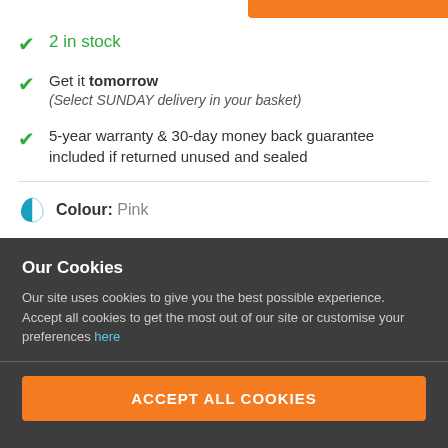2 in stock
Get it tomorrow (Select SUNDAY delivery in your basket)
5-year warranty & 30-day money back guarantee included if returned unused and sealed
Colour: Pink
[Figure (photo): Two product thumbnail images of wireless earphones/earbuds. First image (selected, orange border) shows two pink/gold earphones. Second image (grey border) shows black earphones.]
Our Cookies
Our site uses cookies to give you the best possible experience. Accept all cookies to get the most out of our site or customise your preferences here
ACCEPT ALL COOKIES